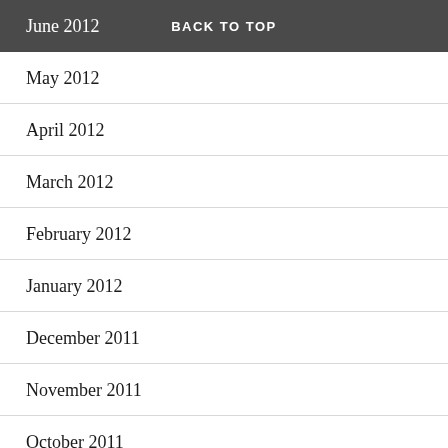June 2012  BACK TO TOP
May 2012
April 2012
March 2012
February 2012
January 2012
December 2011
November 2011
October 2011